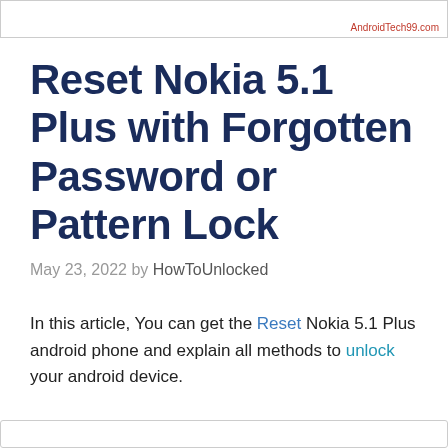AndroidTech99.com
Reset Nokia 5.1 Plus with Forgotten Password or Pattern Lock
May 23, 2022 by HowToUnlocked
In this article, You can get the Reset Nokia 5.1 Plus android phone and explain all methods to unlock your android device.